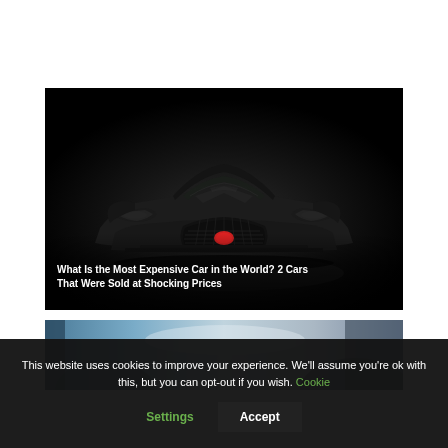[Figure (photo): Front view of a black Bugatti La Voiture Noire hypercar on a dark background with dramatic lighting. White text overlay reads: 'What Is the Most Expensive Car in the World? 2 Cars That Were Sold at Shocking Prices']
[Figure (photo): Partial view of a blue/silver luxury car interior or exterior detail, partially cropped at bottom of page]
This website uses cookies to improve your experience. We'll assume you're ok with this, but you can opt-out if you wish. Cookie Settings Accept